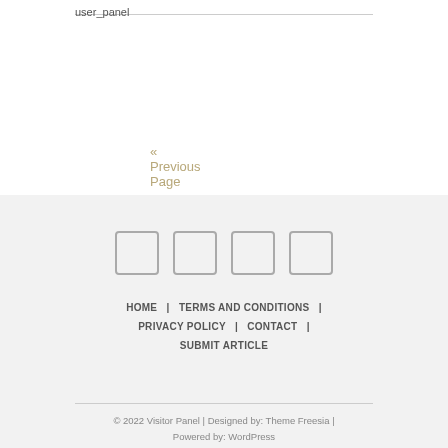user_panel
« Previous Page
[Figure (other): Four square social media icon placeholders in a row]
HOME | TERMS AND CONDITIONS | PRIVACY POLICY | CONTACT | SUBMIT ARTICLE
© 2022 Visitor Panel | Designed by: Theme Freesia | Powered by: WordPress